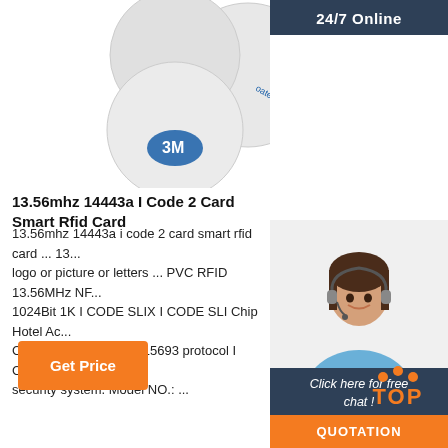[Figure (photo): Three white circular RFID coin tags/discs with 3M adhesive tape backing, shown from above on white background]
24/7 Online
[Figure (photo): Customer service agent woman with headset smiling]
Click here for free chat !
QUOTATION
13.56mhz 14443a I Code 2 Card Smart Rfid Card
13.56mhz 14443a i code 2 card smart rfid card ... 13... logo or picture or letters ... PVC RFID 13.56MHz NF... 1024Bit 1K I CODE SLIX I CODE SLI Chip Hotel Ac... Card. Model NO.: ISO 15693 protocol I CODE SLI R... security system. Model NO.: ...
Get Price
[Figure (other): TOP navigation button with orange dots arranged in triangle shape above the word TOP in orange]